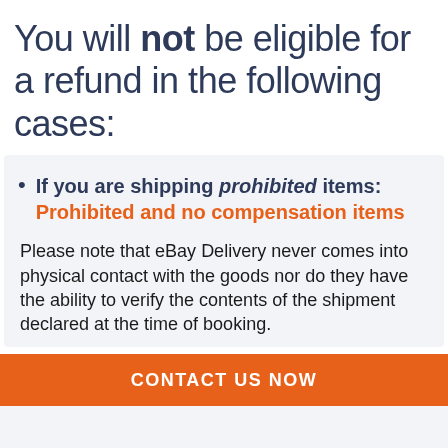You will not be eligible for a refund in the following cases:
If you are shipping prohibited items: Prohibited and no compensation items
Please note that eBay Delivery never comes into physical contact with the goods nor do they have the ability to verify the contents of the shipment declared at the time of booking.
CONTACT US NOW